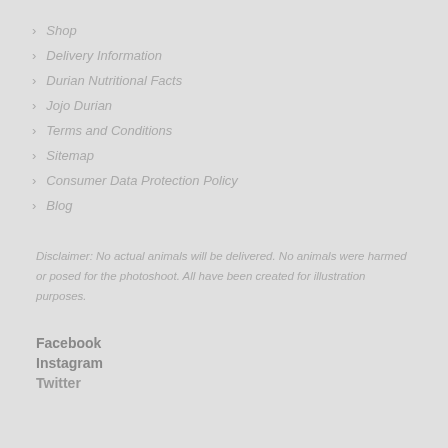Shop
Delivery Information
Durian Nutritional Facts
Jojo Durian
Terms and Conditions
Sitemap
Consumer Data Protection Policy
Blog
Disclaimer: No actual animals will be delivered. No animals were harmed or posed for the photoshoot. All have been created for illustration purposes.
Facebook
Instagram
Twitter